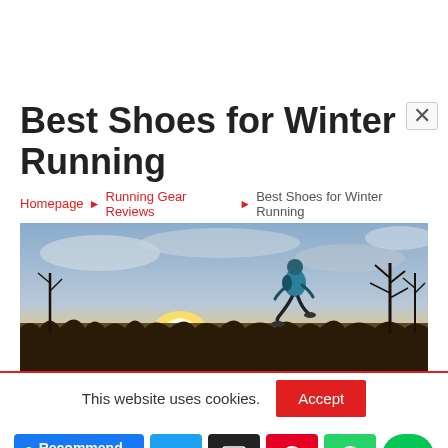Best Shoes for Winter Running
Homepage ▶ Running Gear Reviews ▶ Best Shoes for Winter Running
[Figure (photo): Person running outdoors in winter at sunset, wearing a teal jacket and backpack, running through a field with bare trees and dramatic cloudy sky]
This website uses cookies.
Accept
Recommend 3